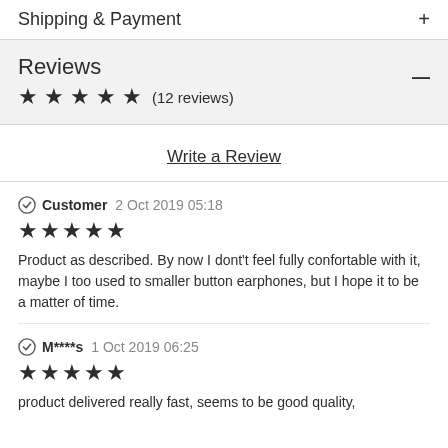Shipping & Payment
Reviews
★★★★★ (12 reviews)
Write a Review
Customer 2 Oct 2019 05:18
★★★★★
Product as described. By now I dont't feel fully confortable with it, maybe I too used to smaller button earphones, but I hope it to be a matter of time.
M****s 1 Oct 2019 06:25
★★★★★
product delivered really fast, seems to be good quality,